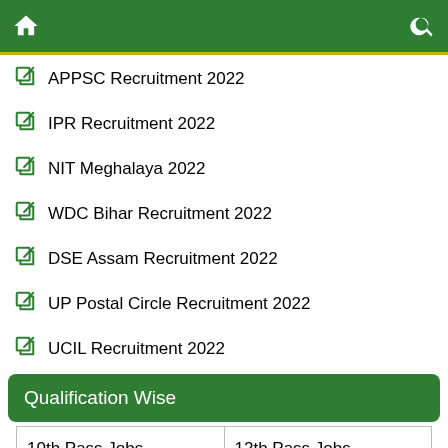Home / Search
APPSC Recruitment 2022
IPR Recruitment 2022
NIT Meghalaya 2022
WDC Bihar Recruitment 2022
DSE Assam Recruitment 2022
UP Postal Circle Recruitment 2022
UCIL Recruitment 2022
Qualification Wise
| 10th Pass Jobs | 12th Pass Jobs |
| B.E./B.Tech | Diploma Jobs |
| Graduate Jobs | ITI Govt Jobs |